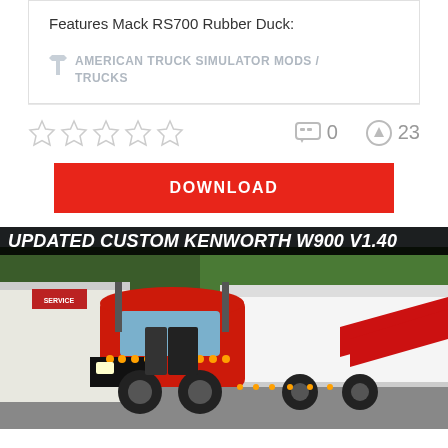Features Mack RS700 Rubber Duck:
AMERICAN TRUCK SIMULATOR MODS / TRUCKS
★★★★★  0  23
DOWNLOAD
[Figure (photo): Screenshot from American Truck Simulator showing a red Kenworth W900 truck with a white and red trailer at a service station, with trees in the background. Banner text reads: UPDATED CUSTOM KENWORTH W900 V1.40]